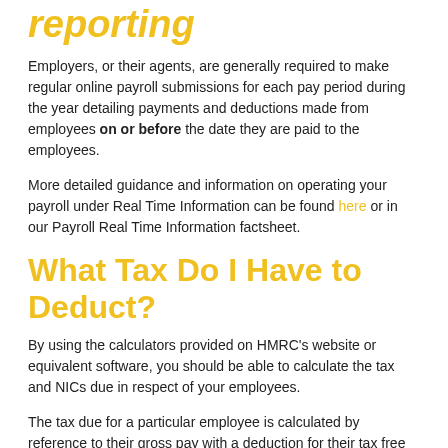reporting
Employers, or their agents, are generally required to make regular online payroll submissions for each pay period during the year detailing payments and deductions made from employees on or before the date they are paid to the employees.
More detailed guidance and information on operating your payroll under Real Time Information can be found here or in our Payroll Real Time Information factsheet.
What Tax Do I Have to Deduct?
By using the calculators provided on HMRC's website or equivalent software, you should be able to calculate the tax and NICs due in respect of your employees.
The tax due for a particular employee is calculated by reference to their gross pay with a deduction for their tax free pay which reflects their particular circumstances (using their coding notice